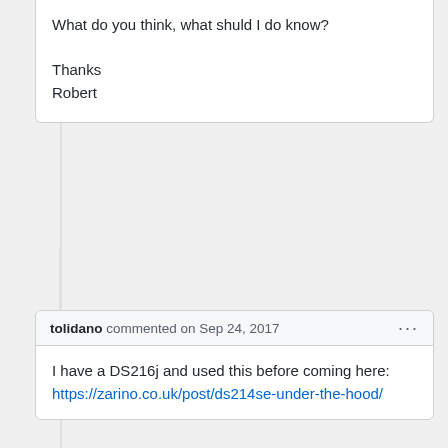What do you think, what shuld I do know?

Thanks
Robert
tolidano commented on Sep 24, 2017
I have a DS216j and used this before coming here:
https://zarino.co.uk/post/ds214se-under-the-hood/
FlorianCassayre commented on Jun 6, 2018
Awesome, the detailed steps helped me install it on my station. Thank you so much!